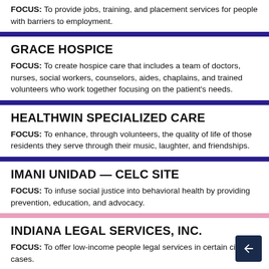FOCUS: To provide jobs, training, and placement services for people with barriers to employment.
GRACE HOSPICE
FOCUS: To create hospice care that includes a team of doctors, nurses, social workers, counselors, aides, chaplains, and trained volunteers who work together focusing on the patient's needs.
HEALTHWIN SPECIALIZED CARE
FOCUS: To enhance, through volunteers, the quality of life of those residents they serve through their music, laughter, and friendships.
IMANI UNIDAD — CELC SITE
FOCUS: To infuse social justice into behavioral health by providing prevention, education, and advocacy.
INDIANA LEGAL SERVICES, INC.
FOCUS: To offer low-income people legal services in certain civil cases.